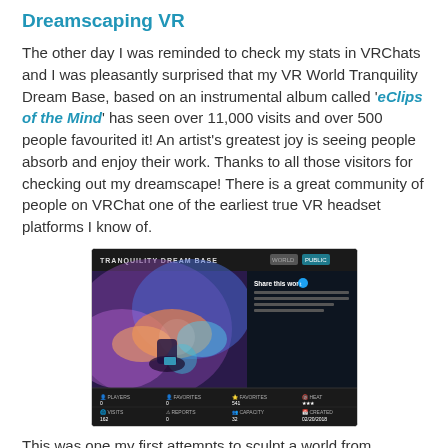Dreamscaping VR
The other day I was reminded to check my stats in VRChats and I was pleasantly surprised that my VR World Tranquility Dream Base, based on an instrumental album called 'eClips of the Mind' has seen over 11,000 visits and over 500 people favourited it! An artist's greatest joy is seeing people absorb and enjoy their work. Thanks to all those visitors for checking out my dreamscape! There is a great community of people on VRChat one of the earliest true VR headset platforms I know of.
[Figure (screenshot): VRChat world page for 'Tranquility Dream Base' showing a colorful VR environment screenshot with stats including players, favorites, visits, reports, capacity, and created date.]
This was one my first attempts to sculpt a world from scratch, using the Oculus inMedium app on my Rift. To this